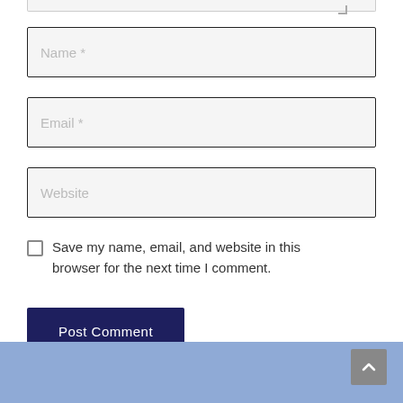[Figure (screenshot): Bottom of a web comment form showing partial textarea at top, Name input field, Email input field, Website input field, a save checkbox, a Post Comment button, and a blue footer with a scroll-to-top button.]
Name *
Email *
Website
Save my name, email, and website in this browser for the next time I comment.
Post Comment